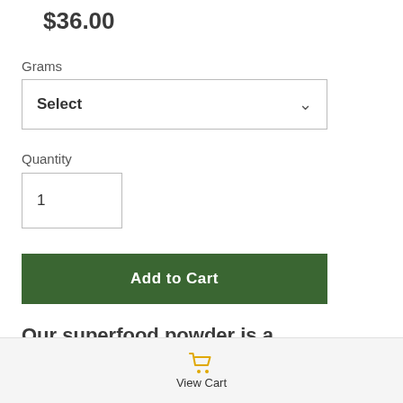$36.00
Grams
Select
Quantity
1
Add to Cart
Our superfood powder is a proprietary blend of 14
View Cart